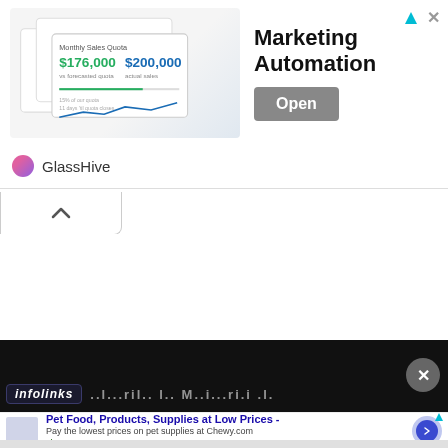[Figure (screenshot): GlassHive Marketing Automation advertisement banner with dashboard preview showing $176,000 and $200,000 sales figures, Open button, and GlassHive branding]
[Figure (screenshot): Collapse/minimize tab with upward chevron arrow]
[Figure (screenshot): Infolinks dark ad section with blurred text overlay and close button]
[Figure (screenshot): Chewy.com pet food advertisement: 'Pet Food, Products, Supplies at Low Prices - Pay the lowest prices on pet supplies at Chewy.com' with navigation arrow]